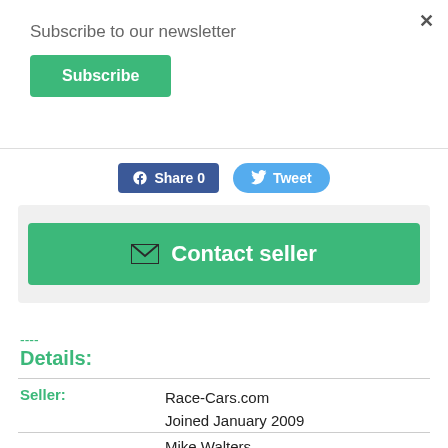×
Subscribe to our newsletter
Subscribe
Share 0
Tweet
✉ Contact seller
----
Details:
Seller:
Race-Cars.com
Joined January 2009
Mike Walters
Seller's other listings